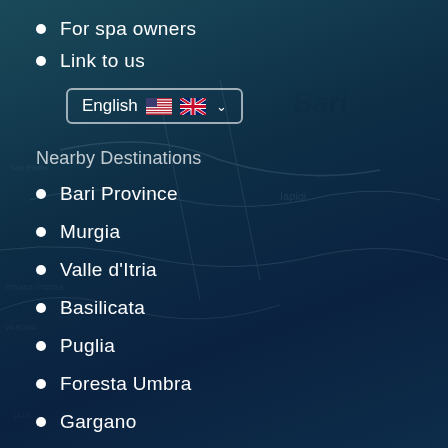For spa owners
Link to us
[Figure (other): Language selector button showing 'English' with US and UK flag icons and a dropdown chevron]
Nearby Destinations
Bari Province
Murgia
Valle d'Itria
Basilicata
Puglia
Foresta Umbra
Gargano
Popular Destinations
Sveti Vlas
Manila